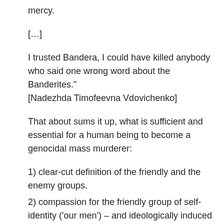mercy.
[…]
I trusted Bandera, I could have killed anybody who said one wrong word about the Banderites." [Nadezhda Timofeevna Vdovichenko]
That about sums it up, what is sufficient and essential for a human being to become a genocidal mass murderer:
1) clear-cut definition of the friendly and the enemy groups.
2) compassion for the friendly group of self-identity ('our men') – and ideologically induced hate for the enemy group ('Jews/Poles/Russians/POW/traitors').